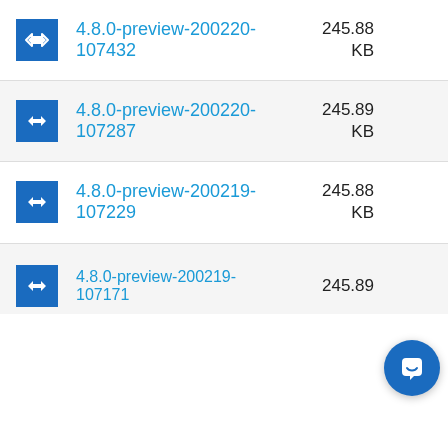4.8.0-preview-200220-107432  245.88 KB
4.8.0-preview-200220-107287  245.89 KB
4.8.0-preview-200219-107229  245.88 KB
4.8.0-preview-200219-107171  245.89